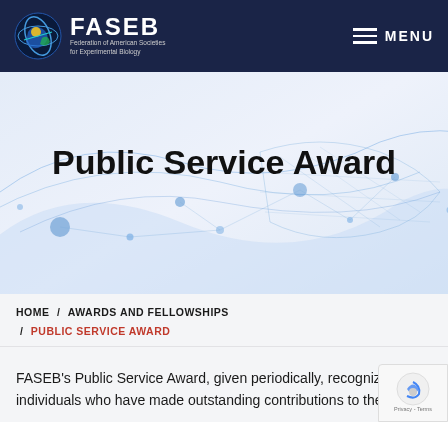FASEB — Federation of American Societies for Experimental Biology — MENU
[Figure (illustration): Hero banner with abstract blue network/mesh wave pattern on light blue-grey background with the title 'Public Service Award' overlaid in bold black text.]
Public Service Award
HOME / AWARDS AND FELLOWSHIPS / PUBLIC SERVICE AWARD
FASEB's Public Service Award, given periodically, recognizes individuals who have made outstanding contributions to the